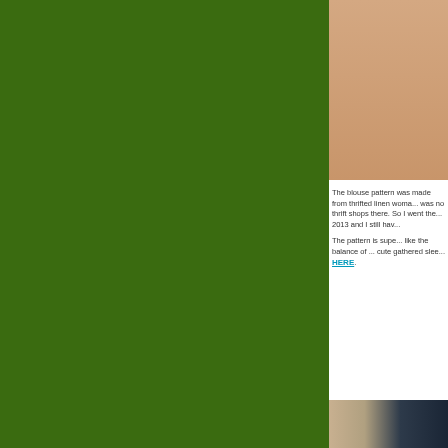[Figure (photo): Left portion of the page showing a solid dark green background filling approximately 73% of the page width]
[Figure (photo): Top right: close-up photo of skin/neck area with warm peach/tan tones]
The blouse pattern was made from thrifted linen woma... was no thrift shops there. So I went the... 2013 and I still hav...
The pattern is supe... like the balance of ... cute gathered slee... HERE.
[Figure (photo): Bottom right: partial photo showing dark hair against a tan/beige background]